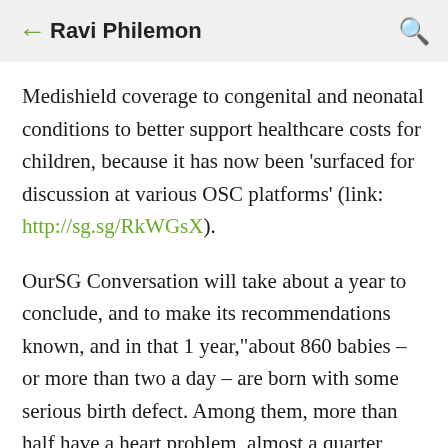← Ravi Philemon 🔍
Medishield coverage to congenital and neonatal conditions to better support healthcare costs for children, because it has now been 'surfaced for discussion at various OSC platforms' (link: http://sg.sg/RkWGsX).
OurSG Conversation will take about a year to conclude, and to make its recommendations known, and in that 1 year,"about 860 babies – or more than two a day – are born with some serious birth defect. Among them, more than half have a heart problem, almost a quarter have